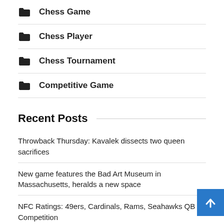Chess Game
Chess Player
Chess Tournament
Competitive Game
Recent Posts
Throwback Thursday: Kavalek dissects two queen sacrifices
New game features the Bad Art Museum in Massachusetts, heralds a new space
NFC Ratings: 49ers, Cardinals, Rams, Seahawks QB Competition
John Burke and Other Yanks Score High in Maryland’s “International” Chess Showcase
Twitter User Says ‘Chess Is A New Cricket’, Magnus Carlsen Lists 4 Reas…